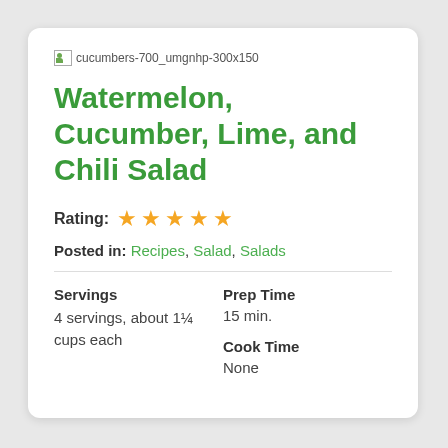[Figure (photo): Broken image placeholder for cucumbers-700_umgnhp-300x150]
Watermelon, Cucumber, Lime, and Chili Salad
Rating: ★★★★★
Posted in: Recipes, Salad, Salads
| Servings | Prep Time |
| 4 servings, about 1¼ cups each | 15 min. |
|  | Cook Time |
|  | None |